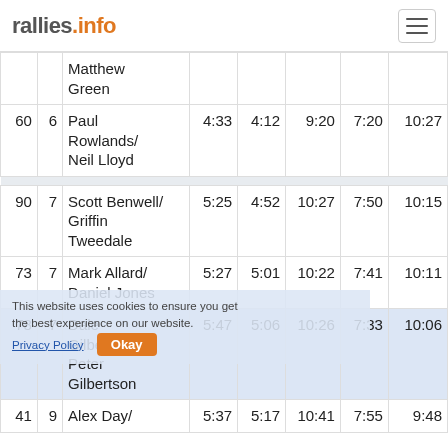rallies.info
| # | Cls | Driver/Co-driver | SS1 | SS2 | SS3 | SS4 | SS5 |
| --- | --- | --- | --- | --- | --- | --- | --- |
|  |  | Matthew Green |  |  |  |  |  |
| 60 | 6 | Paul Rowlands/ Neil Lloyd | 4:33 | 4:12 | 9:20 | 7:20 | 10:27 |
| 90 | 7 | Scott Benwell/ Griffin Tweedale | 5:25 | 4:52 | 10:27 | 7:50 | 10:15 |
| 73 | 7 | Mark Allard/ Daniel Jones | 5:27 | 5:01 | 10:22 | 7:41 | 10:11 |
| 78 | 7 | Dale Gilbertson/ Peter Gilbertson | 5:47 | 5:06 | 10:26 | 7:33 | 10:06 |
| 41 | 9 | Alex Day/ | 5:37 | 5:17 | 10:41 | 7:55 | 9:48 |
This website uses cookies to ensure you get the best experience on our website. Privacy Policy